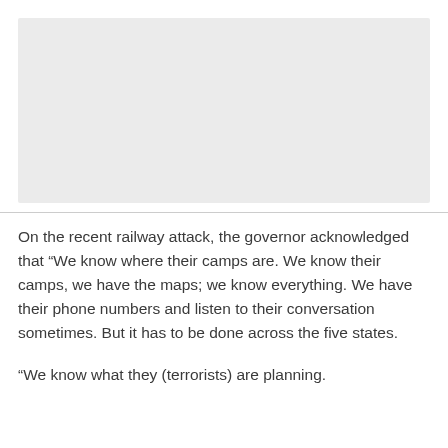[Figure (other): Grey rectangular image placeholder at the top of the page]
On the recent railway attack, the governor acknowledged that “We know where their camps are. We know their camps, we have the maps; we know everything. We have their phone numbers and listen to their conversation sometimes. But it has to be done across the five states.
“We know what they (terrorists) are planning.